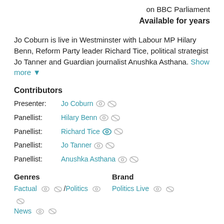on BBC Parliament
Available for years
Jo Coburn is live in Westminster with Labour MP Hilary Benn, Reform Party leader Richard Tice, political strategist Jo Tanner and Guardian journalist Anushka Asthana. Show more
Contributors
Presenter: Jo Coburn
Panellist: Hilary Benn
Panellist: Richard Tice
Panellist: Jo Tanner
Panellist: Anushka Asthana
Genres  Brand
Factual / Politics  Politics Live
News